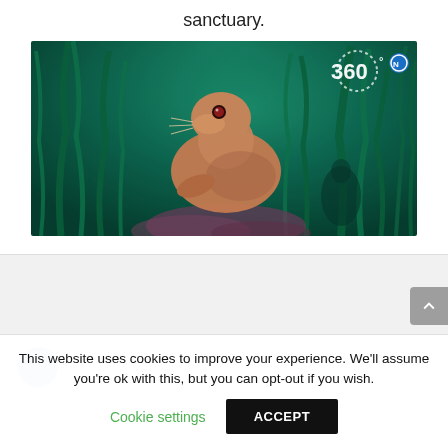sanctuary.
[Figure (photo): Underwater photo of a sea lion swimming among kelp in a marine sanctuary, with a 360° badge overlay in the top right corner.]
This website uses cookies to improve your experience. We'll assume you're ok with this, but you can opt-out if you wish.
Cookie settings
ACCEPT